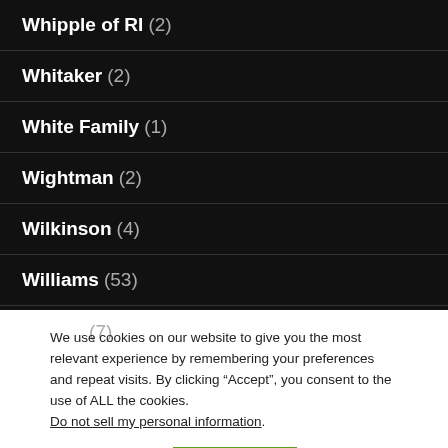Whipple of RI (2)
Whitaker (2)
White Family (1)
Wightman (2)
Wilkinson (4)
Williams (53)
Wilson (7)
We use cookies on our website to give you the most relevant experience by remembering your preferences and repeat visits. By clicking “Accept”, you consent to the use of ALL the cookies. Do not sell my personal information.
Cookie settings  ACCEPT